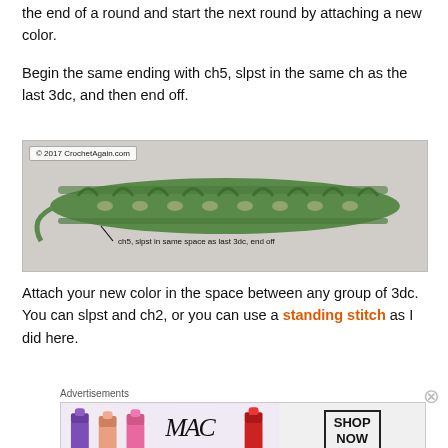the end of a round and start the next round by attaching a new color.
Begin the same ending with ch5, slpst in the same ch as the last 3dc, and then end off.
[Figure (photo): Photo of a crochet row showing a green yarn worked in double crochet clusters with a label 'ch5, slpst in same space as last 3dc, end off'. Watermark: © 2017 CrochetAgain.com]
Attach your new color in the space between any group of 3dc. You can slpst and ch2, or you can use a standing stitch as I did here.
Advertisements
[Figure (photo): MAC Cosmetics advertisement showing lipsticks with SHOP NOW button]